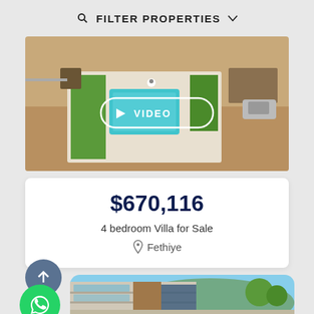FILTER PROPERTIES
[Figure (photo): Aerial drone view of a villa with swimming pool, green lawn, and cars parked nearby]
$670,116
4 bedroom Villa for Sale
Fethiye
[Figure (photo): Modern residential apartment building with balconies, glass railings, and mountain/trees in background]